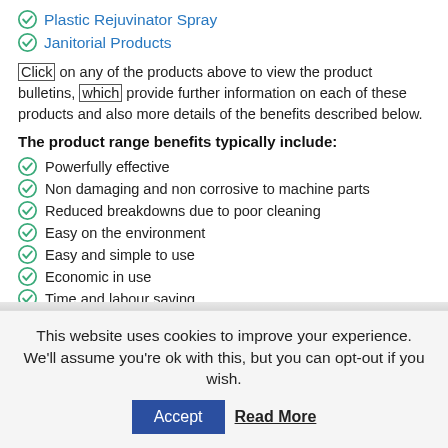Plastic Rejuvinator Spray
Janitorial Products
Click on any of the products above to view the product bulletins, which provide further information on each of these products and also more details of the benefits described below.
The product range benefits typically include:
Powerfully effective
Non damaging and non corrosive to machine parts
Reduced breakdowns due to poor cleaning
Easy on the environment
Easy and simple to use
Economic in use
Time and labour saving
This website uses cookies to improve your experience. We'll assume you're ok with this, but you can opt-out if you wish. Accept Read More